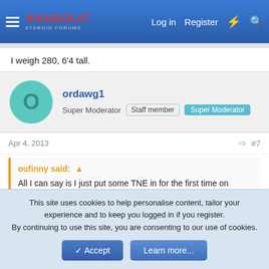Anabolic Steroid Forums — Log in  Register
I weigh 280, 6'4 tall.
ordawg1
Super Moderator  Staff member  Super Moderator
Apr 4, 2013  #7
oufinny said:
All I can say is I just put some TNE in for the first time on Saturday; holy crap that was painful for 4 days. I have only had a shot hurt more one time and that was a poorly made Test 400. It could just be the first time I have used TNE but you have to really want to use that if you are going to put up with the PIP.
This site uses cookies to help personalise content, tailor your experience and to keep you logged in if you register.
By continuing to use this site, you are consenting to our use of cookies.
Accept  Learn more...